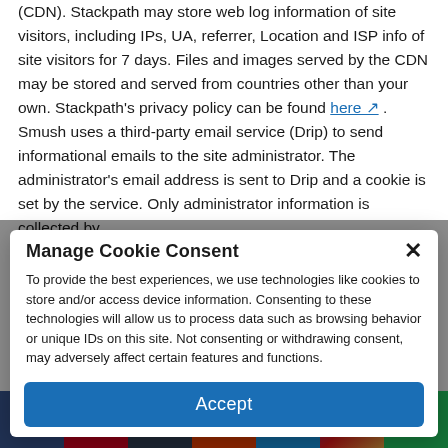(CDN). Stackpath may store web log information of site visitors, including IPs, UA, referrer, Location and ISP info of site visitors for 7 days. Files and images served by the CDN may be stored and served from countries other than your own. Stackpath's privacy policy can be found here . Smush uses a third-party email service (Drip) to send informational emails to the site administrator. The administrator's email address is sent to Drip and a cookie is set by the service. Only administrator information is collected by
Manage Cookie Consent
To provide the best experiences, we use technologies like cookies to store and/or access device information. Consenting to these technologies will allow us to process data such as browsing behavior or unique IDs on this site. Not consenting or withdrawing consent, may adversely affect certain features and functions.
Accept